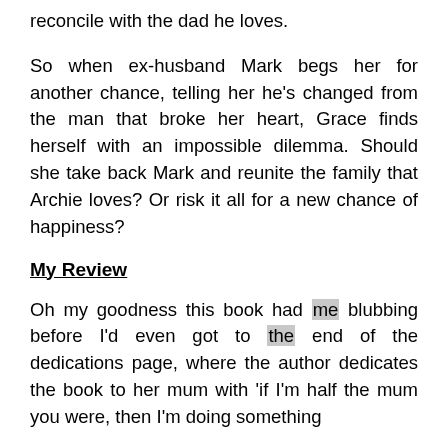reconcile with the dad he loves.
So when ex-husband Mark begs her for another chance, telling her he’s changed from the man that broke her heart, Grace finds herself with an impossible dilemma. Should she take back Mark and reunite the family that Archie loves? Or risk it all for a new chance of happiness?
My Review
Oh my goodness this book had me blubbing before I’d even got to the end of the dedications page, where the author dedicates the book to her mum with ‘if I’m half the mum you were, then I’m doing something